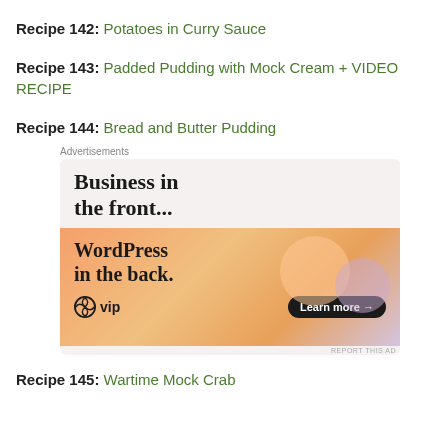Recipe 142: Potatoes in Curry Sauce
Recipe 143: Padded Pudding with Mock Cream + VIDEO RECIPE
Recipe 144: Bread and Butter Pudding
[Figure (illustration): WordPress VIP advertisement. Top section on light background reads 'Business in the front...' in large serif bold text. Bottom section on orange/peach gradient background reads 'WordPress in the back.' with WordPress VIP logo and a 'Learn more →' button.]
Recipe 145: Wartime Mock Crab